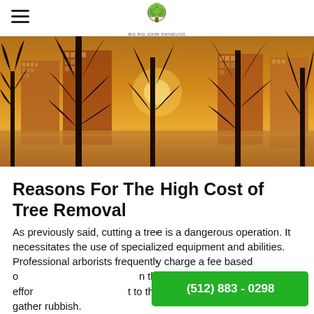Big Rig John Swineling Tree Services (logo with tree icon)
[Figure (photo): Wide panoramic photo of bare winter trees silhouetted against a warm orange sunset with city buildings visible in the background]
Reasons For The High Cost of Tree Removal
As previously said, cutting a tree is a dangerous operation. It necessitates the use of specialized equipment and abilities. Professional arborists frequently charge a fee based on their expertise. It takes a lot of effort to thin a tree, cut it down, and gather rubbish.
(512) 883 - 0298